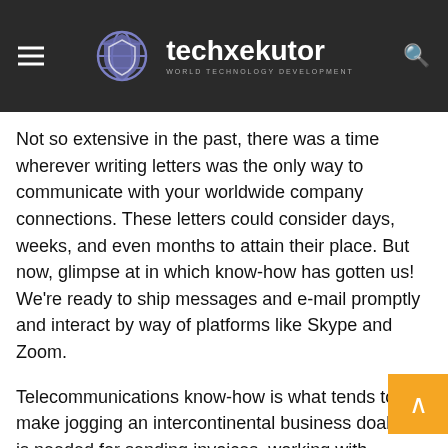techxekutor — WORLD TECHNOLOGY DEVELOPMENT
Not so extensive in the past, there was a time wherever writing letters was the only way to communicate with your worldwide company connections. These letters could consider days, weeks, and even months to attain their place. But now, glimpse at in which know-how has gotten us! We're ready to ship messages and e-mail promptly and interact by way of platforms like Skype and Zoom.
Telecommunications know-how is what tends to make jogging an intercontinental business doable. It is needed for sending invoices, working with consumers, speaking with suppliers, and maintaining in touch with personnel that might are